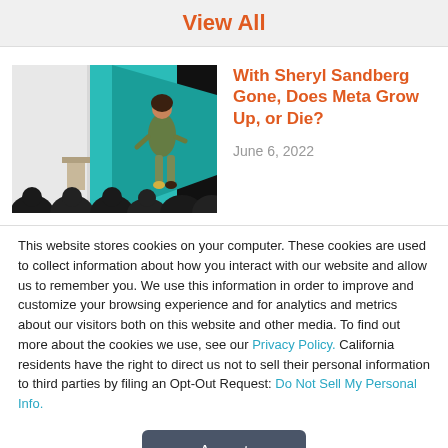View All
[Figure (photo): A woman presenting on stage with a teal geometric backdrop and audience silhouettes in the foreground]
With Sheryl Sandberg Gone, Does Meta Grow Up, or Die?
June 6, 2022
This website stores cookies on your computer. These cookies are used to collect information about how you interact with our website and allow us to remember you. We use this information in order to improve and customize your browsing experience and for analytics and metrics about our visitors both on this website and other media. To find out more about the cookies we use, see our Privacy Policy. California residents have the right to direct us not to sell their personal information to third parties by filing an Opt-Out Request: Do Not Sell My Personal Info.
Accept